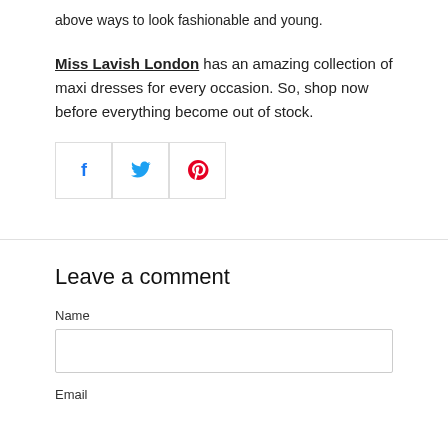above ways to look fashionable and young.
Miss Lavish London has an amazing collection of maxi dresses for every occasion. So, shop now before everything become out of stock.
[Figure (infographic): Three social media share buttons in bordered boxes: Facebook (blue F icon), Twitter (blue bird icon), Pinterest (red P icon)]
Leave a comment
Name
Email